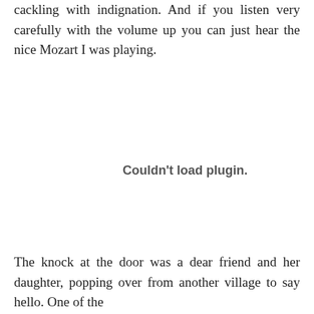cackling with indignation. And if you listen very carefully with the volume up you can just hear the nice Mozart I was playing.
[Figure (other): Couldn't load plugin. placeholder area for an embedded media plugin that failed to load.]
The knock at the door was a dear friend and her daughter, popping over from another village to say hello. One of the